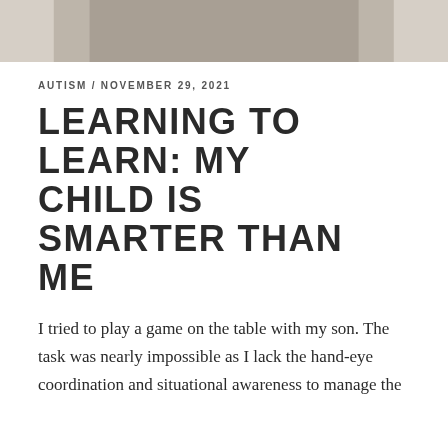[Figure (photo): Partial photo of a person on a textured surface, cropped at top of page]
AUTISM / NOVEMBER 29, 2021
LEARNING TO LEARN: MY CHILD IS SMARTER THAN ME
I tried to play a game on the table with my son. The task was nearly impossible as I lack the hand-eye coordination and situational awareness to manage the